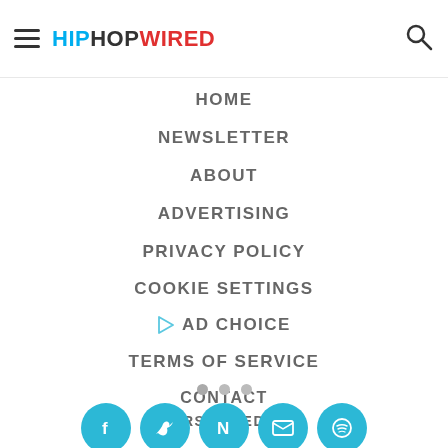HIPHOPWIRED
HOME
NEWSLETTER
ABOUT
ADVERTISING
PRIVACY POLICY
COOKIE SETTINGS
AD CHOICE
TERMS OF SERVICE
CONTACT
RSS FEED
[Figure (other): Pagination dots and social media icon buttons (Facebook, Twitter, N, email, Spotify) in teal circles]